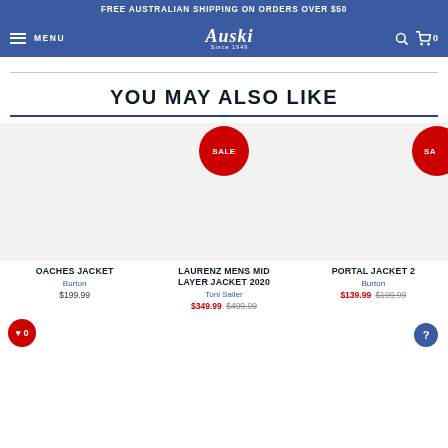FREE AUSTRALIAN SHIPPING ON ORDERS OVER $50
[Figure (screenshot): Auski e-commerce website navigation bar with hamburger menu, Auski Since 1949 logo, search icon, and cart icon showing 0 items]
YOU MAY ALSO LIKE
OACHES JACKET | Burton | $199.99
LAURENZ MENS MID LAYER JACKET 2020 | Toni Sailer | $349.99 $499.99
PORTAL JACKET 2... | Burton | $139.99 $199.99